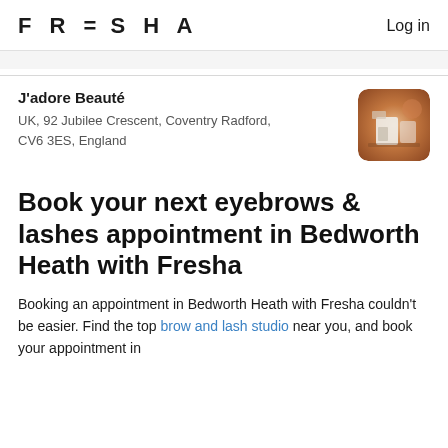FRESHA  Log in
J'adore Beauté
UK, 92 Jubilee Crescent, Coventry Radford, CV6 3ES, England
[Figure (photo): Circular thumbnail photo of a beauty salon interior with warm pink/copper tones]
Book your next eyebrows & lashes appointment in Bedworth Heath with Fresha
Booking an appointment in Bedworth Heath with Fresha couldn't be easier. Find the top brow and lash studio near you, and book your appointment in